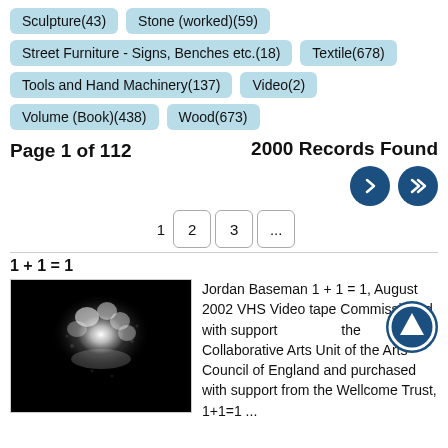Sculpture(43)
Stone (worked)(59)
Street Furniture - Signs, Benches etc.(18)
Textile(678)
Tools and Hand Machinery(137)
Video(2)
Volume (Book)(438)
Wood(673)
Page 1 of 112
2000 Records Found
1 + 1 = 1
[Figure (photo): Black image showing a white glowing organic cloud-like shape on black background]
Jordan Baseman 1 + 1 = 1, August 2002 VHS Video tape Commissioned with support the Collaborative Arts Unit of the Arts Council of England and purchased with support from the Wellcome Trust, 1+1=1 ...